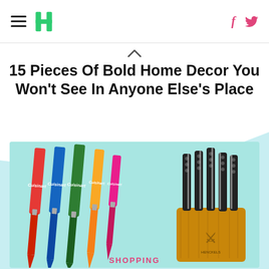Huffington Post navigation header with hamburger menu, logo, Facebook and Twitter icons
15 Pieces Of Bold Home Decor You Won't See In Anyone Else's Place
[Figure (photo): Product photo showing colorful Cuisinart knife set (red, blue, green, yellow, pink knives with blade covers) on the left side, and a HENCKELS knife block set with wooden block on the right side, both on a light teal background.]
SHOPPING